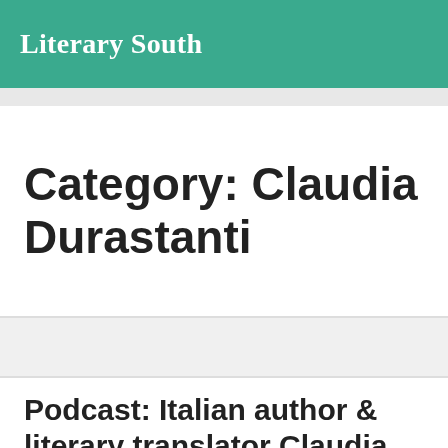Literary South
Category: Claudia Durastanti
Podcast: Italian author & literary translator Claudia